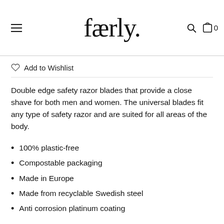færly.
Add to Wishlist
Double edge safety razor blades that provide a close shave for both men and women. The universal blades fit any type of safety razor and are suited for all areas of the body.
100% plastic-free
Compostable packaging
Made in Europe
Made from recyclable Swedish steel
Anti corrosion platinum coating